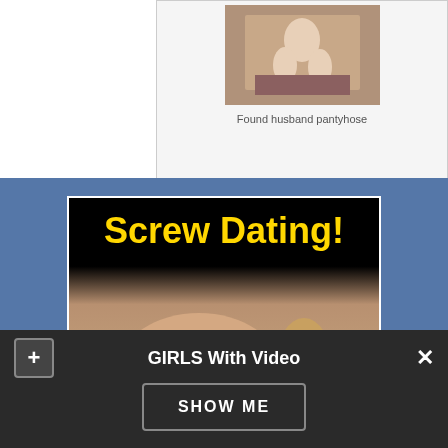[Figure (photo): Thumbnail image of two people sitting, with caption 'Found husband pantyhose']
Found husband pantyhose
[Figure (photo): Adult dating advertisement for Meendo showing text 'Screw Dating!' in yellow, a figure photo, the Meendo logo with heart icon, and 'Get a one-night stand' text]
GIRLS With Video
SHOW ME